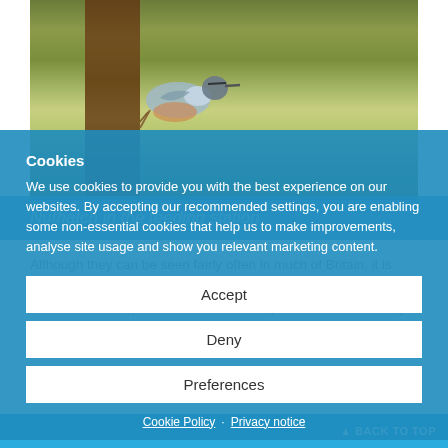[Figure (photo): A nuthatch bird clinging to a wooden feeding station post, with a green blurred background]
Nuthatch in the feeding station
Although they can be seen fairly often in much of Britain, it is only recently that nuthatches have spread more north and can be seen further up in Scotland. Treecreepers are also relatively widespread, and more extravagant ... Lowes. They are found mostly in d...
Cookies
We use cookies to provide you with the best experience on our websites. By accepting our recommended settings, you are enabling some non-essential cookies that help us to make improvements, analyse site usage and show you relevant marketing content.
Accept
Deny
Preferences
Cookie Policy · Privacy notice
▲ BACK TO TOP